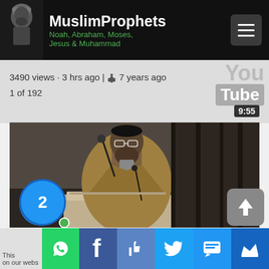MuslimProphets
Noah, Abraham, Moses, Jesus & Muhammad
3490 views · 3 hrs ago | 7 years ago
1 of 192
[Figure (screenshot): Video thumbnail showing a man with glasses and beard speaking at a podium with a microphone, wearing a tan jacket. Dark curtain in background.]
82% of Bible written by Apostle Paul - Khalid Yasin
This ... on our webs...